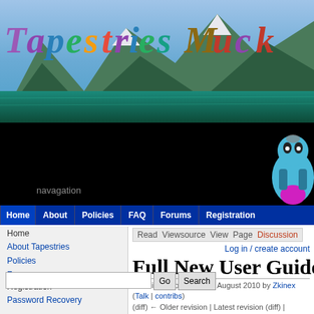[Figure (screenshot): Tapestries Muck website banner with mountain lake landscape background and colorful italic text logo 'Tapestries Muck']
[Figure (screenshot): Black navigation bar with 'navagation' text label and cartoon character image on right]
Home | About | Policies | FAQ | Forums | Registration
Home
About Tapestries
Policies
Forums
Registration
Password Recovery
Log in / create account
Read  Viewsource  View  Page  Discussion
information
Online Play
Documentation
Recommended Reading
Not Just A Game
Full New User Guide
Revision as of 10:54, 20 August 2010 by Zkinex (Talk | contribs) (diff) ← Older revision | Latest revision (diff) | Newer revision → (diff)
Full New User Guide